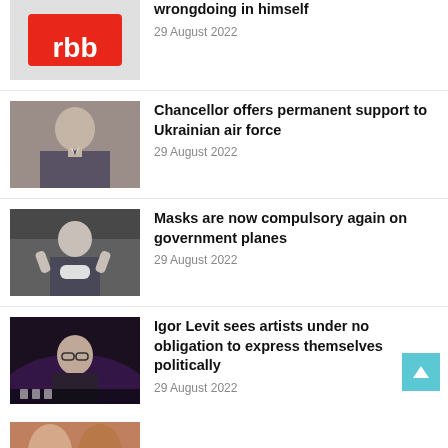[Figure (photo): RBB logo on red background - partial/cropped at top]
wrongdoing in himself
29 August 2022
[Figure (photo): Photo of Chancellor Olaf Scholz speaking]
Chancellor offers permanent support to Ukrainian air force
29 August 2022
[Figure (photo): Man in suit gesturing, holding a mask, government plane context]
Masks are now compulsory again on government planes
29 August 2022
[Figure (photo): Igor Levit, pianist, sitting at piano in dark setting with glasses]
Igor Levit sees artists under no obligation to express themselves politically
29 August 2022
[Figure (photo): Partial photo at bottom, faces barely visible]